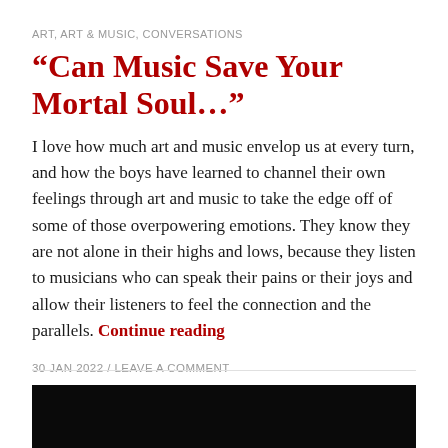ART, ART & MUSIC, CONVERSATIONS
“Can Music Save Your Mortal Soul…”
I love how much art and music envelop us at every turn, and how the boys have learned to channel their own feelings through art and music to take the edge off of some of those overpowering emotions. They know they are not alone in their highs and lows, because they listen to musicians who can speak their pains or their joys and allow their listeners to feel the connection and the parallels. Continue reading
30 JAN 2022 / LEAVE A COMMENT
[Figure (photo): Black rectangular image area at the bottom of the page]